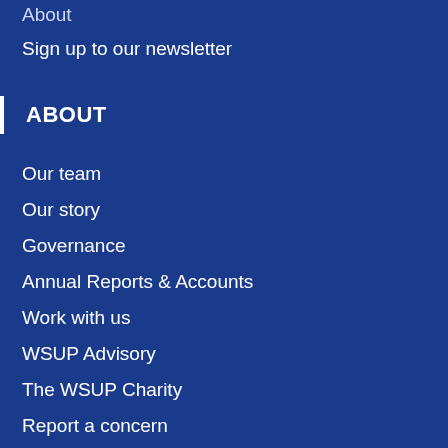About
Sign up to our newsletter
ABOUT
Our team
Our story
Governance
Annual Reports & Accounts
Work with us
WSUP Advisory
The WSUP Charity
Report a concern